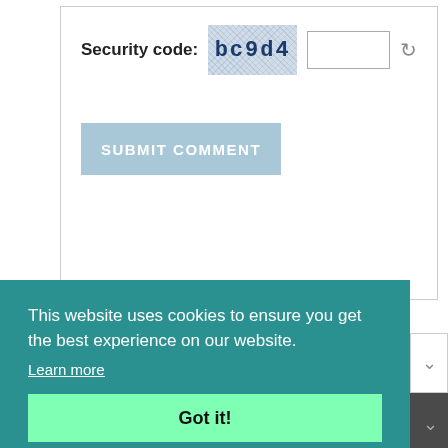Security code: bc9d4
SUBMIT COMMENT
This website uses cookies to ensure you get the best experience on our website.
Learn more
Got it!